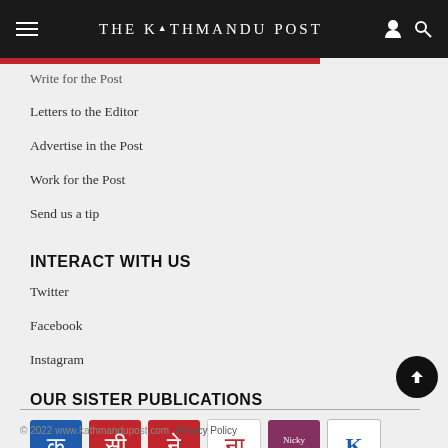THE KATHMANDU POST
Write for the Post
Letters to the Editor
Advertise in the Post
Work for the Post
Send us a tip
INTERACT WITH US
Twitter
Facebook
Instagram
OUR SISTER PUBLICATIONS
[Figure (logo): Six sister publication logos/icons in a row]
© 2022 www.kathmandupost.com  Privacy Policy